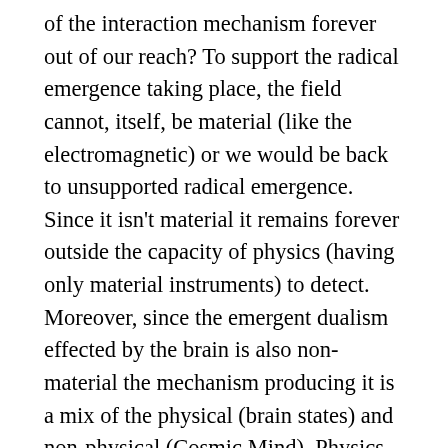of the interaction mechanism forever out of our reach? To support the radical emergence taking place, the field cannot, itself, be material (like the electromagnetic) or we would be back to unsupported radical emergence. Since it isn't material it remains forever outside the capacity of physics (having only material instruments) to detect. Moreover, since the emergent dualism effected by the brain is also non-material the mechanism producing it is a mix of the physical (brain states) and non-physical (Cosmic Mind). Physics (in this case a synechode for neurophysiology resting on biology resting on chemistry and so on) can only measure the material side and it does! We can measure and find (roughly) consciousness-correlated brain states! What we cannot measure is the evocation